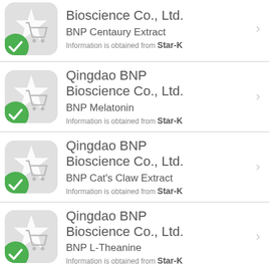Bioscience Co., Ltd. | BNP Centaury Extract | Information is obtained from Star-K
Qingdao BNP Bioscience Co., Ltd. | BNP Melatonin | Information is obtained from Star-K
Qingdao BNP Bioscience Co., Ltd. | BNP Cat's Claw Extract | Information is obtained from Star-K
Qingdao BNP Bioscience Co., Ltd. | BNP L-Theanine | Information is obtained from Star-K